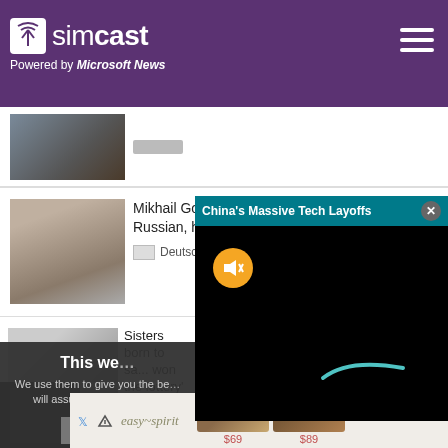simcast — Powered by Microsoft News
[Figure (screenshot): Partial news item with guitar/musician thumbnail at top]
Mikhail Gorbachev, Germany's most beloved Russian, has died
Deutsche Welle  Deutsche Welle
Sisters born to sa... won the lottery'
FOX News
This we...
We use them to give you the be... will assume that you are...
[Figure (screenshot): China's Massive Tech Layoffs video popup overlay with mute button and close button]
[Figure (screenshot): easy spirit shoe advertisement banner showing two shoes priced at $69 and $89]